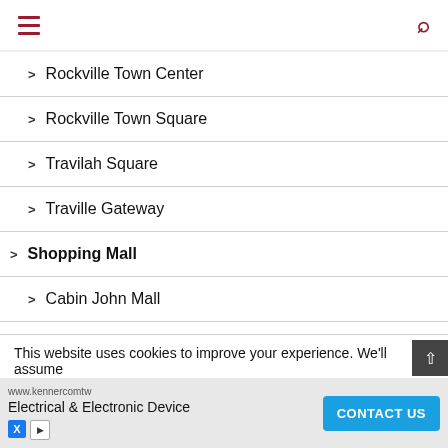Navigation menu with hamburger and search icons
Rockville Town Center
Rockville Town Square
Travilah Square
Traville Gateway
Shopping Mall
Cabin John Mall
Lakeforest Mall
This website uses cookies to improve your experience. We'll assume you're... cept
www.kennercomtw
Electrical & Electronic Device
CONTACT US